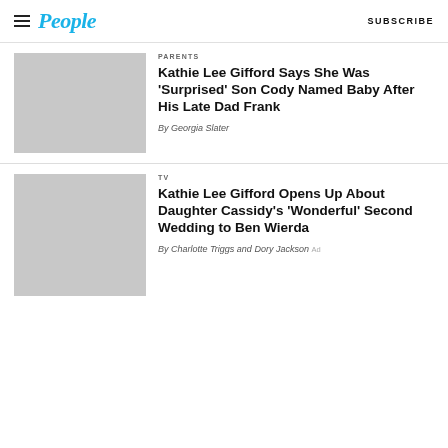People — SUBSCRIBE
[Figure (photo): Gray placeholder thumbnail for first article]
PARENTS
Kathie Lee Gifford Says She Was 'Surprised' Son Cody Named Baby After His Late Dad Frank
By Georgia Slater
[Figure (photo): Gray placeholder thumbnail for second article]
TV
Kathie Lee Gifford Opens Up About Daughter Cassidy's 'Wonderful' Second Wedding to Ben Wierda
By Charlotte Triggs and Dory Jackson